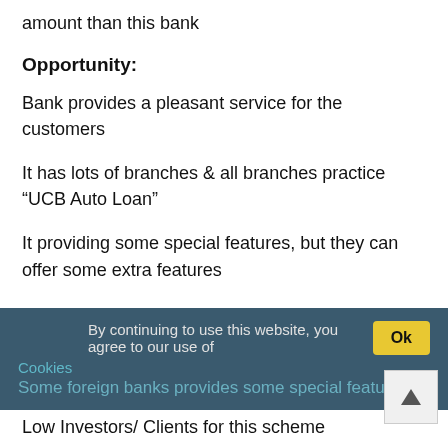amount than this bank
Opportunity:
Bank provides a pleasant service for the customers
It has lots of branches & all branches practice “UCB Auto Loan”
It providing some special features, but they can offer some extra features
Threat:
By continuing to use this website, you agree to our use of Cookies
Some foreign banks provides some special features
Low Investors/ Clients for this scheme